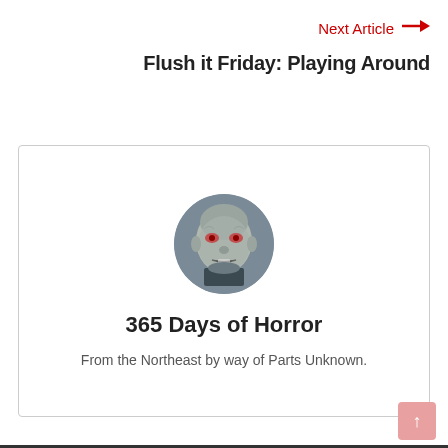Next Article →
Flush it Friday: Playing Around
[Figure (illustration): A card-style profile box with a circular avatar image showing a pale zombie-like horror figure, name '365 Days of Horror', and tagline 'From the Northeast by way of Parts Unknown.']
365 Days of Horror
From the Northeast by way of Parts Unknown.